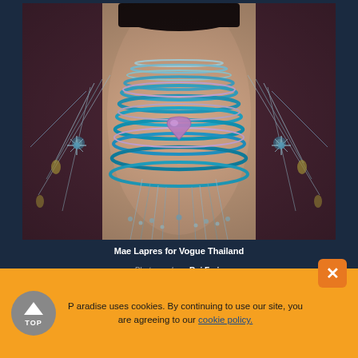[Figure (photo): Close-up fashion photo of a person wearing elaborate layered jewelry including blue beaded necklaces, crystal chains, pendants, and a large amethyst/purple stone pendant, styled for Vogue Thailand. Dark reddish-brown background.]
Mae Lapres for Vogue Thailand
Photographer: Rui Faria
Paradise uses cookies. By continuing to use our site, you are agreeing to our cookie policy.